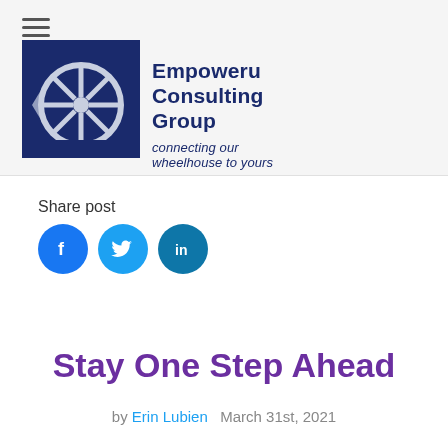[Figure (logo): Empoweru Consulting Group logo: dark navy blue square with a wheel/spoke design in grey/white, company name and tagline to the right]
Share post
[Figure (infographic): Three social media share buttons: Facebook (blue circle with f), Twitter (light blue circle with bird), LinkedIn (blue circle with 'in')]
Stay One Step Ahead
by Erin Lubien   March 31st, 2021